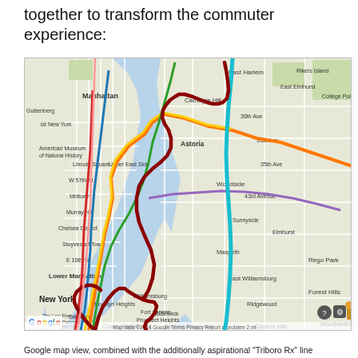together to transform the commuter experience:
[Figure (map): Google map view of New York City area showing Manhattan, Queens, Brooklyn, and surrounding areas with colored transit lines overlaid. A dark red line traces a proposed 'Triboro Rx' route through the boroughs. A light blue line runs north-south through Queens. Other colored lines (orange, yellow, green, blue, red, purple) represent existing subway and transit routes. Labels visible include Manhattan, New York, Lower Manhattan, Astoria, Woodside, East Elmhurst, Maspeth, East Williamsburg, Ridgewood, Forest Hills, Rego Park, Bushwick, Bedford-Stuyvesant, Crown Heights, Prospect Heights, Gowanus, Red Hook, Brooklyn Heights, Fort Greene, and others. Map data ©2014 Google. Google logo and controls visible at bottom.]
Google map view, combined with the additionally aspirational "Triboro Rx" line